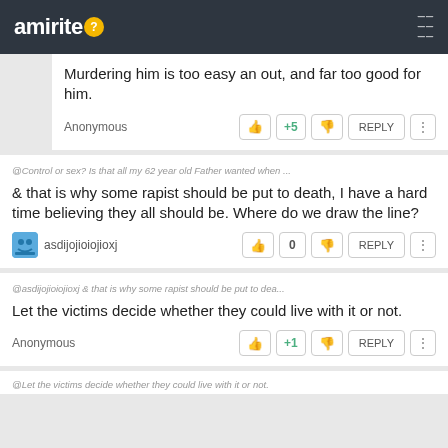amirite
Murdering him is too easy an out, and far too good for him.
Anonymous  +5  REPLY
@Control or sex? Is that all my 62 year old Father wanted when ...
& that is why some rapist should be put to death, I have a hard time believing they all should be. Where do we draw the line?
asdijojioiojioxj  0  REPLY
@asdijojioiojioxj & that is why some rapist should be put to dea...
Let the victims decide whether they could live with it or not.
Anonymous  +1  REPLY
@Let the victims decide whether they could live with it or not.